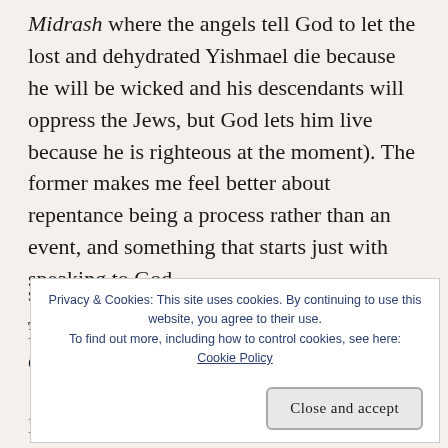Midrash where the angels tell God to let the lost and dehydrated Yishmael die because he will be wicked and his descendants will oppress the Jews, but God lets him live because he is righteous at the moment). The former makes me feel better about repentance being a process rather than an event, and something that starts just with speaking to God.
There were more shiurim, but I'm too tired even to s... i...
Privacy & Cookies: This site uses cookies. By continuing to use this website, you agree to their use. To find out more, including how to control cookies, see here: Cookie Policy
*
My sister and brother-in-law came over at